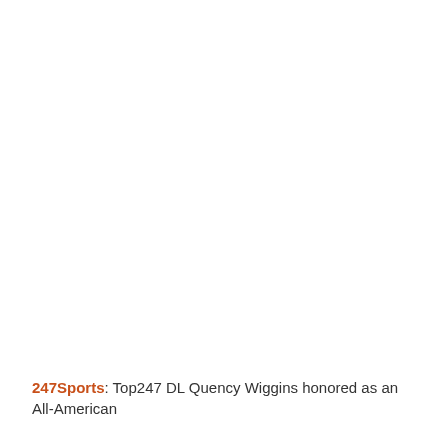247Sports: Top247 DL Quency Wiggins honored as an All-American